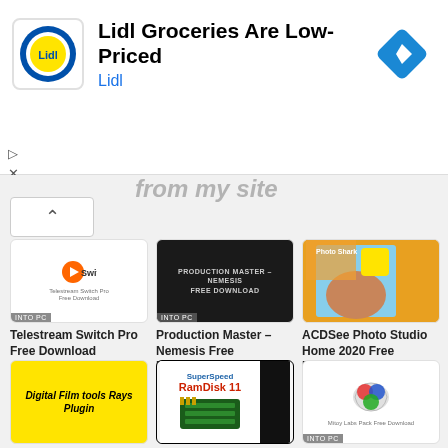[Figure (screenshot): Lidl advertisement banner with Lidl logo, text 'Lidl Groceries Are Low-Priced', subtitle 'Lidl', navigation diamond icon, and ad controls (play and close buttons)]
from my site
[Figure (screenshot): Thumbnail for Telestream Switch Pro with Switch logo and text 'Telestream Switch Pro Free Download', INTO PC badge]
Telestream Switch Pro Free Download
[Figure (screenshot): Thumbnail for Production Master Nemesis with dark game-style cover art, INTO PC badge]
Production Master – Nemesis Free Download
[Figure (photo): ACDSee Photo Studio Home 2020 product box with woman photo and tropical scene]
ACDSee Photo Studio Home 2020 Free Download
[Figure (screenshot): Yellow thumbnail with bold text 'Digital Film tools Rays Plugin']
Digital Film
[Figure (screenshot): SuperSpeed RamDisk 11 product box with RAM chip image]
SuperSpeed
[Figure (screenshot): Mitoy Labs Pack Free Download thumbnail with colorful logo, INTO PC badge]
Mitoy Labs